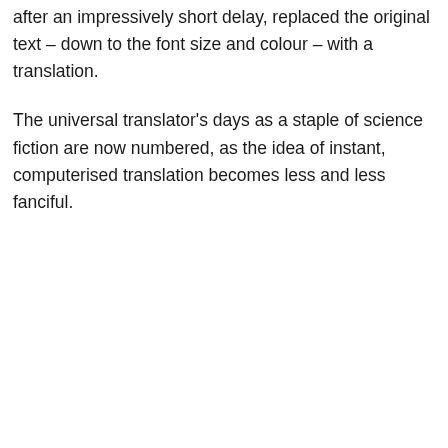after an impressively short delay, replaced the original text – down to the font size and colour – with a translation.
The universal translator's days as a staple of science fiction are now numbered, as the idea of instant, computerised translation becomes less and less fanciful.